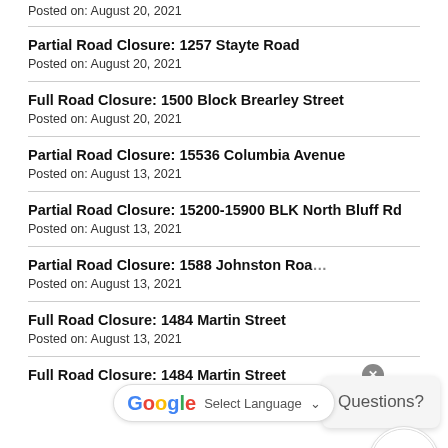Posted on: August 20, 2021
Partial Road Closure: 1257 Stayte Road
Posted on: August 20, 2021
Full Road Closure: 1500 Block Brearley Street
Posted on: August 20, 2021
Partial Road Closure: 15536 Columbia Avenue
Posted on: August 13, 2021
Partial Road Closure: 15200-15900 BLK North Bluff Rd
Posted on: August 13, 2021
Partial Road Closure: 1588 Johnston Roa…
Posted on: August 13, 2021
Full Road Closure: 1484 Martin Street
Posted on: August 13, 2021
Full Road Closure: 1484 Martin Street